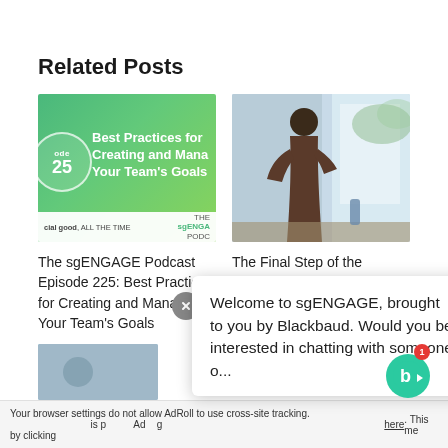Related Posts
[Figure (screenshot): Podcast thumbnail: green gradient with Episode 25 circle and text 'Best Practices for Creating and Managing Your Team's Goals', sgENGAGE podcast branding footer]
[Figure (photo): Photo of person standing at a whiteboard in a bright office setting]
The sgENGAGE Podcast Episode 225: Best Practices for Creating and Managing Your Team's Goals
The Final Step of the Nonprofit Audit: Presenting Financial Statements to Your Board
Welcome to sgENGAGE, brought to you by Blackbaud. Would you be interested in chatting with someone o...
Your browser settings do not allow AdRoll to use cross-site tracking. by clicking here. This me...